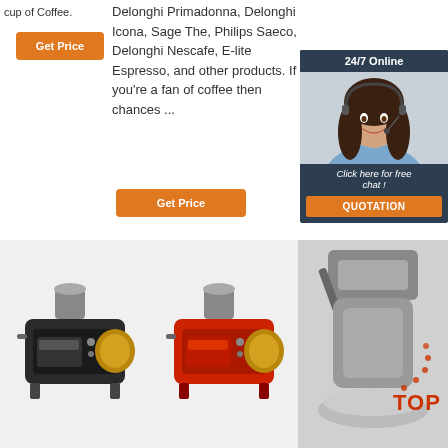cup of Coffee.
[Figure (photo): Orange 'Get Price' button (left column)]
Delonghi Primadonna, Delonghi Icona, Sage The, Philips Saeco, Delonghi Nescafe, E-lite Espresso, and other products. If you're a fan of coffee then chances ...
[Figure (photo): 24/7 Online customer service chat widget with a woman wearing a headset and 'Click here for free chat!' text and QUOTATION button]
[Figure (photo): Orange 'Get Price' button (middle column)]
[Figure (photo): Coffee roaster machine - black/silver model]
[Figure (photo): Coffee roaster machine - red model]
[Figure (photo): Coffee grinder machine close-up with TOP badge]